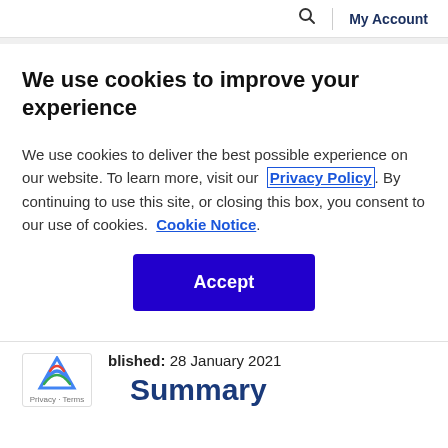🔍  |  My Account
We use cookies to improve your experience
We use cookies to deliver the best possible experience on our website. To learn more, visit our  Privacy Policy . By continuing to use this site, or closing this box, you consent to our use of cookies.  Cookie Notice.
Accept
blished: 28 January 2021
Summary